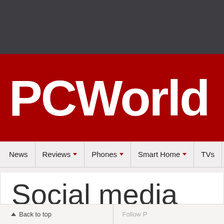PCWorld
News | Reviews ▼ | Phones ▼ | Smart Home ▼ | TVs | PC ▼
Social media
^ Back to top   Follow P